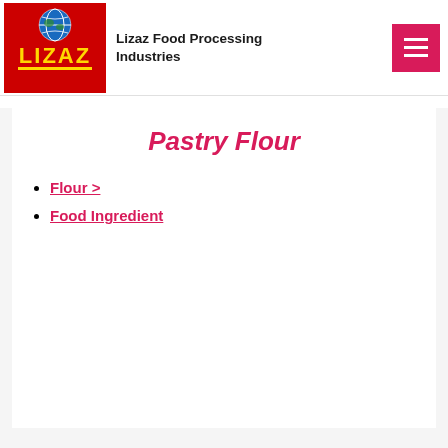[Figure (logo): Lizaz Food Processing Industries logo: red square background with globe icon on top, yellow LIZAZ text below, yellow underline]
Lizaz Food Processing Industries
[Figure (other): Hamburger menu button: red/pink square with three white horizontal bars]
Pastry Flour
Flour >
Food Ingredient